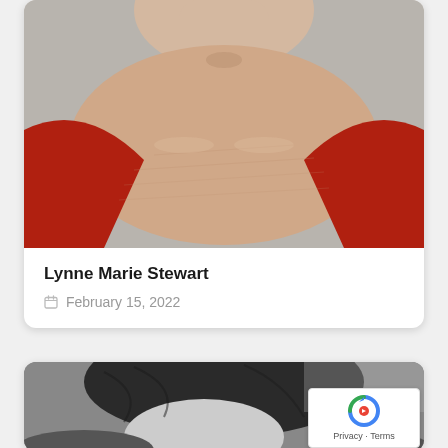[Figure (photo): Close-up photo of a person's neck and upper chest area; person is wearing a red top, set against a light grey background.]
Lynne Marie Stewart
February 15, 2022
[Figure (photo): Black and white photo showing the top of a person's head with dark hair, partially visible.]
[Figure (other): reCAPTCHA badge overlay with Privacy - Terms text.]